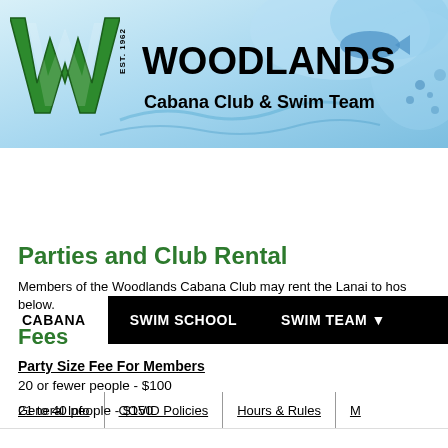[Figure (logo): Woodlands Cabana Club & Swim Team header banner with large green W logo, EST. 1962 text, club name in bold black text, and decorative blue water/fish splash background]
CABANA | SWIM SCHOOL | SWIM TEAM
General Info | COVID Policies | Hours & Rules | M
Parties and Club Rental
Members of the Woodlands Cabana Club may rent the Lanai to hos below.
Fees
Party Size Fee For Members
20 or fewer people - $100
21 to 40 people - $150